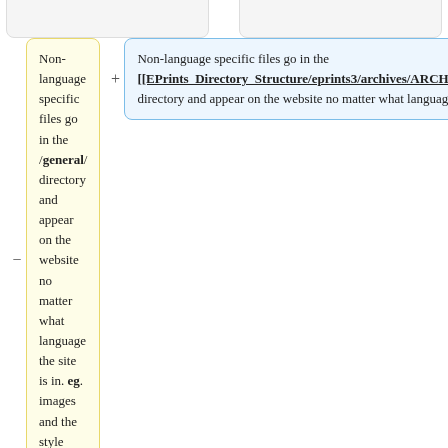Non-language specific files go in the /general/ directory and appear on the website no matter what language the site is in. eg. images and the style sheet.
Non-language specific files go in the [[EPrints_Directory_Structure/eprints3/archives/ARCHIVEID/cfg/static|/opt/eprints3/archives/ARCHIVEID/cfg/static/]]. directory and appear on the website no matter what language the site is in, e.g. images and the style sheet.
Obviously french source files go in /fr/ etc.
Obviously cfg/lang/en/ is intended for English language source files; French source files would go in cfg/lang/fr/ and so on.